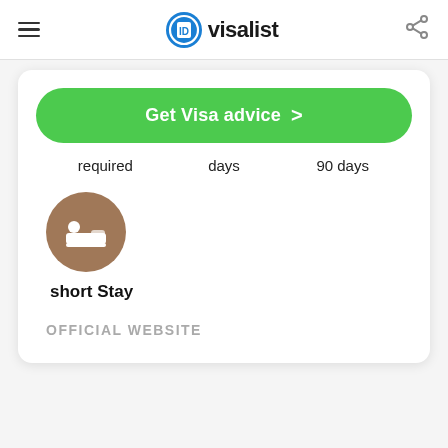visalist
Get Visa advice >
required	days	90 days
[Figure (illustration): Brown circle icon with a bed/sleep symbol (person lying in bed), representing short stay]
short Stay
OFFICIAL WEBSITE